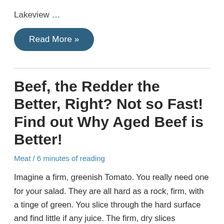Lakeview …
[Figure (other): Read More button — dark teal rounded rectangle with white text 'Read More »']
Beef, the Redder the Better, Right? Not so Fast! Find out Why Aged Beef is Better!
Meat / 6 minutes of reading
Imagine a firm, greenish Tomato. You really need one for your salad. They are all hard as a rock, firm, with a tinge of green. You slice through the hard surface and find little if any juice. The firm, dry slices